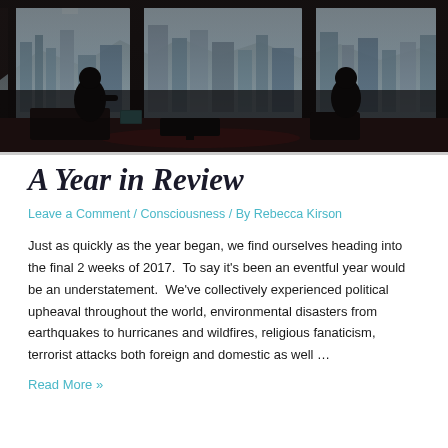[Figure (photo): Interior lounge or bar scene with silhouetted figures seated at tables, large floor-to-ceiling windows looking out onto a city skyline (Las Vegas Strip) on a bright day. The Aria hotel sign is visible in the background.]
A Year in Review
Leave a Comment / Consciousness / By Rebecca Kirson
Just as quickly as the year began, we find ourselves heading into the final 2 weeks of 2017.  To say it’s been an eventful year would be an understatement.  We’ve collectively experienced political upheaval throughout the world, environmental disasters from earthquakes to hurricanes and wildfires, religious fanaticism, terrorist attacks both foreign and domestic as well …
Read More »